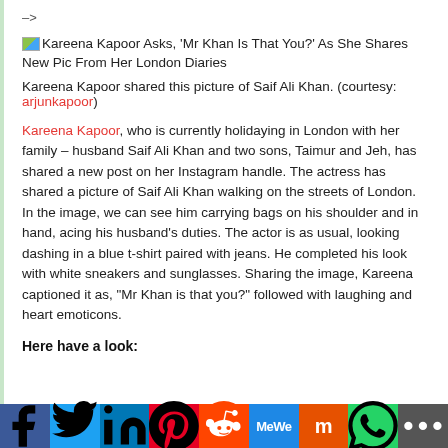–>
Kareena Kapoor Asks, 'Mr Khan Is That You?' As She Shares New Pic From Her London Diaries
Kareena Kapoor shared this picture of Saif Ali Khan. (courtesy: arjunkapoor)
Kareena Kapoor, who is currently holidaying in London with her family – husband Saif Ali Khan and two sons, Taimur and Jeh, has shared a new post on her Instagram handle. The actress has shared a picture of Saif Ali Khan walking on the streets of London. In the image, we can see him carrying bags on his shoulder and in hand, acing his husband's duties. The actor is as usual, looking dashing in a blue t-shirt paired with jeans. He completed his look with white sneakers and sunglasses. Sharing the image, Kareena captioned it as, "Mr Khan is that you?" followed with laughing and heart emoticons.
Here have a look:
[Figure (infographic): Social media sharing bar with icons for Facebook, Twitter, LinkedIn, Pinterest, Reddit, MeWe, Mix, WhatsApp, and More]